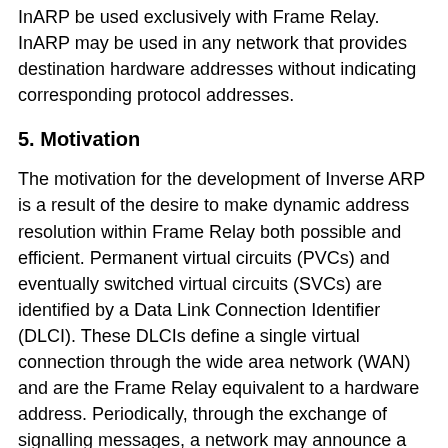InARP be used exclusively with Frame Relay. InARP may be used in any network that provides destination hardware addresses without indicating corresponding protocol addresses.
5. Motivation
The motivation for the development of Inverse ARP is a result of the desire to make dynamic address resolution within Frame Relay both possible and efficient. Permanent virtual circuits (PVCs) and eventually switched virtual circuits (SVCs) are identified by a Data Link Connection Identifier (DLCI). These DLCIs define a single virtual connection through the wide area network (WAN) and are the Frame Relay equivalent to a hardware address. Periodically, through the exchange of signalling messages, a network may announce a new virtual circuit with its corresponding DLCI. Unfortunately, protocol addressing is not included in the announcement. The station receiving such an indication will learn of the new connection, but will